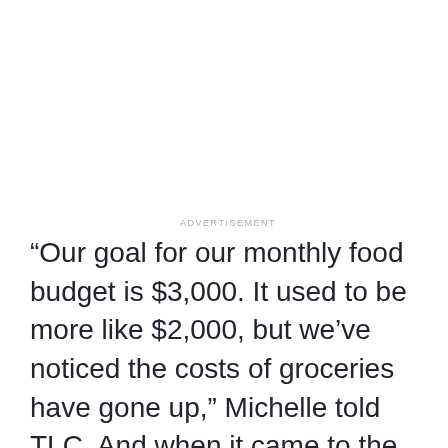ADVERTISEMENT
“Our goal for our monthly food budget is $3,000. It used to be more like $2,000, but we’ve noticed the costs of groceries have gone up,” Michelle told TLC. And when it came to the food they purchased, it was often bulk items, canned goods, and basics so they could bake their own bread.
Many Instagram followers have seen some Duggar cooking in Jill’s favorite recipes she shares still after...